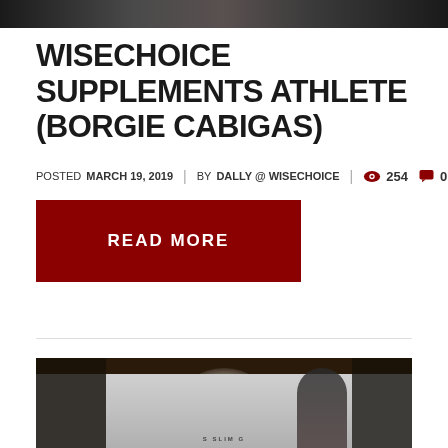[Figure (photo): Top banner image cropped at top of page, dark background with partial content]
WISECHOICE SUPPLEMENTS ATHLETE (BORGIE CABIGAS)
POSTED MARCH 19, 2019 | BY DALLY @ WISECHOICE | 254 views | 0 comments
READ MORE
[Figure (photo): Bottom photo showing gym interior with bright flash/light and a person partially visible on right side, gym logo visible at bottom center]